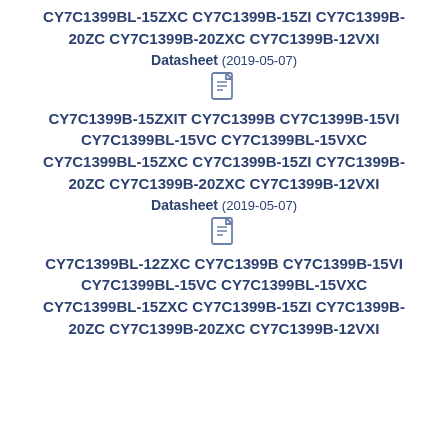CY7C1399BL-15ZXC CY7C1399B-15ZI CY7C1399B-20ZC CY7C1399B-20ZXC CY7C1399B-12VXI
Datasheet (2019-05-07)
[Figure (other): PDF document icon]
CY7C1399B-15ZXIT CY7C1399B CY7C1399B-15VI CY7C1399BL-15VC CY7C1399BL-15VXC CY7C1399BL-15ZXC CY7C1399B-15ZI CY7C1399B-20ZC CY7C1399B-20ZXC CY7C1399B-12VXI
Datasheet (2019-05-07)
[Figure (other): PDF document icon]
CY7C1399BL-12ZXC CY7C1399B CY7C1399B-15VI CY7C1399BL-15VC CY7C1399BL-15VXC CY7C1399BL-15ZXC CY7C1399B-15ZI CY7C1399B-20ZC CY7C1399B-20ZXC CY7C1399B-12VXI